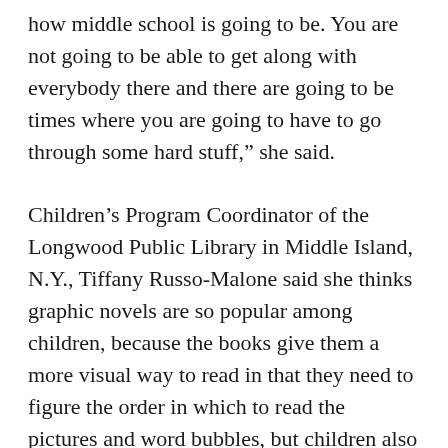how middle school is going to be. You are not going to be able to get along with everybody there and there are going to be times where you are going to have to go through some hard stuff,” she said.
Children’s Program Coordinator of the Longwood Public Library in Middle Island, N.Y., Tiffany Russo-Malone said she thinks graphic novels are so popular among children, because the books give them a more visual way to read in that they need to figure the order in which to read the pictures and word bubbles, but children also need to read the characters’ expressions